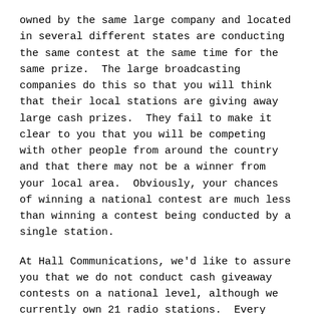owned by the same large company and located in several different states are conducting the same contest at the same time for the same prize.  The large broadcasting companies do this so that you will think that their local stations are giving away large cash prizes.  They fail to make it clear to you that you will be competing with other people from around the country and that there may not be a winner from your local area.  Obviously, your chances of winning a national contest are much less than winning a contest being conducted by a single station.
At Hall Communications, we'd like to assure you that we do not conduct cash giveaway contests on a national level, although we currently own 21 radio stations.  Every contest heard on our stations is being conducted solely for the listeners of that one, particular station.
So, the next time you hear a radio announcement or see a television commercial for a radio station that says "You could win one million dollars tomorrow morning!!", beware.  There is a good chance that this is a national contest and